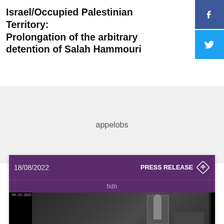Israel/Occupied Palestinian Territory: Prolongation of the arbitrary detention of Salah Hammouri
appelobs
ON THE SAME TOPIC
[Figure (screenshot): Press release card with purple header showing date 18/08/2022 and PRESS RELEASE badge, fidh label, and a CCTV footage image showing a figure in what appears to be a room]